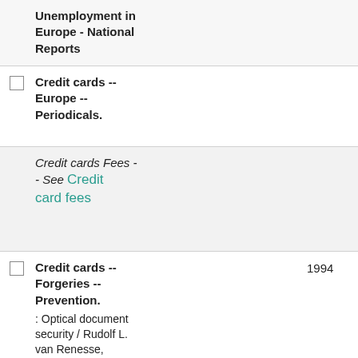Unemployment in Europe - National Reports
Credit cards -- Europe -- Periodicals.
Credit cards Fees - - See Credit card fees
Credit cards -- Forgeries -- Prevention. : Optical document security / Rudolf L. van Renesse,